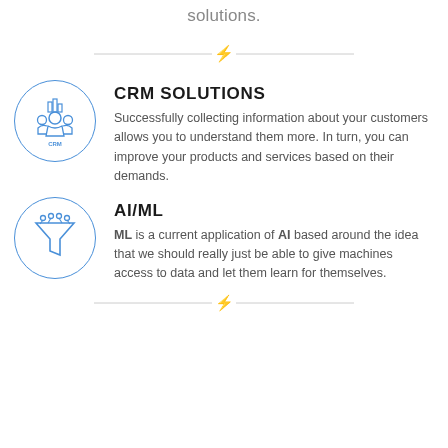solutions.
[Figure (infographic): Horizontal divider with a blue lightning bolt icon in the center]
[Figure (illustration): Blue circle with CRM icon showing people and bar chart, labeled CRM]
CRM SOLUTIONS
Successfully collecting information about your customers allows you to understand them more. In turn, you can improve your products and services based on their demands.
[Figure (illustration): Blue circle with AI/ML funnel/filter icon]
AI/ML
ML is a current application of AI based around the idea that we should really just be able to give machines access to data and let them learn for themselves.
[Figure (infographic): Horizontal divider with a blue lightning bolt icon at bottom]